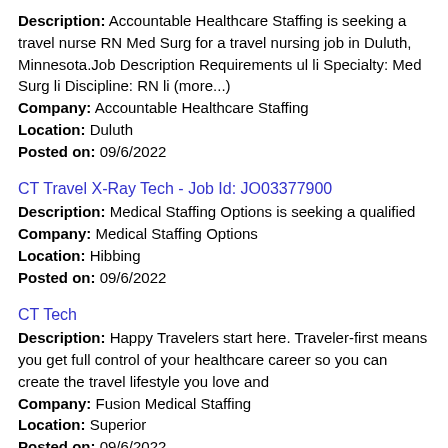Description: Accountable Healthcare Staffing is seeking a travel nurse RN Med Surg for a travel nursing job in Duluth, Minnesota.Job Description Requirements ul li Specialty: Med Surg li Discipline: RN li (more...)
Company: Accountable Healthcare Staffing
Location: Duluth
Posted on: 09/6/2022
CT Travel X-Ray Tech - Job Id: JO03377900
Description: Medical Staffing Options is seeking a qualified
Company: Medical Staffing Options
Location: Hibbing
Posted on: 09/6/2022
CT Tech
Description: Happy Travelers start here. Traveler-first means you get full control of your healthcare career so you can create the travel lifestyle you love and
Company: Fusion Medical Staffing
Location: Superior
Posted on: 09/6/2022
Travel Nurse RN - Med Surg - $2,165 per week
Description: Emerald Health Services is seeking a travel nurse RN